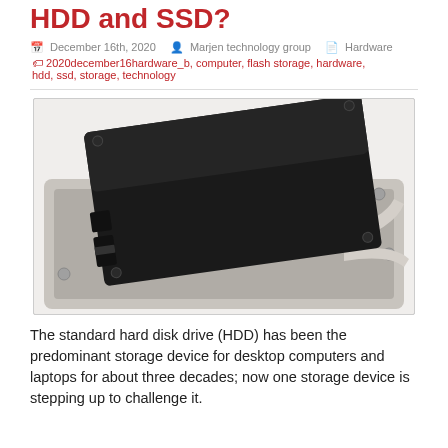HDD and SSD?
December 16th, 2020   Marjen technology group   Hardware   2020december16hardware_b, computer, flash storage, hardware, hdd, ssd, storage, technology
[Figure (photo): An SSD (solid state drive) placed on top of an open HDD (hard disk drive), showing the contrast between the two storage device types.]
The standard hard disk drive (HDD) has been the predominant storage device for desktop computers and laptops for about three decades; now one storage device is stepping up to challenge it.